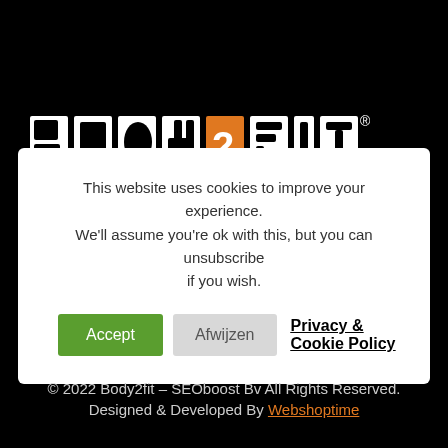[Figure (logo): BODY2FIT logo in white block letters with orange '2' element and registered trademark symbol, on black background]
This website uses cookies to improve your experience. We'll assume you're ok with this, but you can unsubscribe if you wish.
Accept   Afwijzen   Privacy & Cookie Policy
© 2022 Body2fit – SEOboost Bv All Rights Reserved. Designed & Developed By Webshoptime